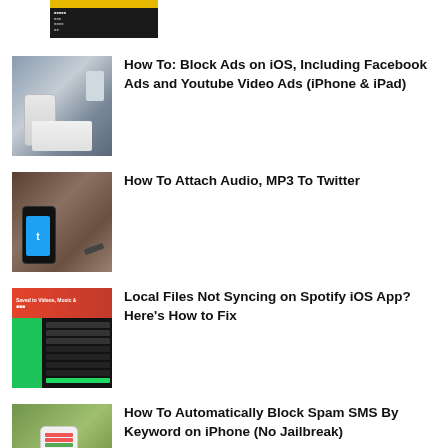[Figure (screenshot): Partial screenshot of a dark terminal/settings screen with yellow bar at top]
[Figure (photo): Hand holding an iPhone showing settings screen]
How To: Block Ads on iOS, Including Facebook Ads and Youtube Video Ads (iPhone & iPad)
[Figure (photo): Smartphone with Twitter blue bird logo on wooden table with audio cable]
How To Attach Audio, MP3 To Twitter
[Figure (screenshot): Spotify iOS app showing local files and playlist screen]
Local Files Not Syncing on Spotify iOS App? Here's How to Fix
[Figure (photo): Hand holding iPhone showing SMS messages]
How To Automatically Block Spam SMS By Keyword on iPhone (No Jailbreak)